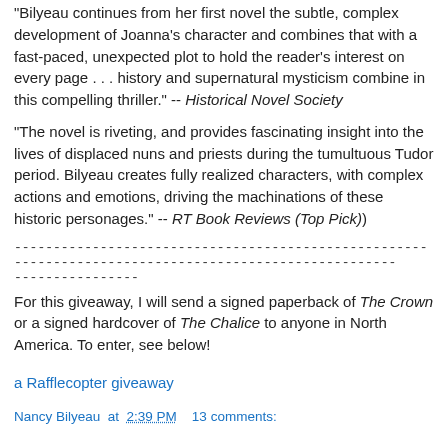“Bilyeau continues from her first novel the subtle, complex development of Joanna’s character and combines that with a fast-paced, unexpected plot to hold the reader’s interest on every page . . . history and supernatural mysticism combine in this compelling thriller.” -- Historical Novel Society
“The novel is riveting, and provides fascinating insight into the lives of displaced nuns and priests during the tumultuous Tudor period. Bilyeau creates fully realized characters, with complex actions and emotions, driving the machinations of these historic personages.” -- RT Book Reviews (Top Pick))
------------------------------------------------------------------------------------------------------
----------------
For this giveaway, I will send a signed paperback of The Crown or a signed hardcover of The Chalice to anyone in North America. To enter, see below!
a Rafflecopter giveaway
Nancy Bilyeau at 2:39 PM   13 comments: